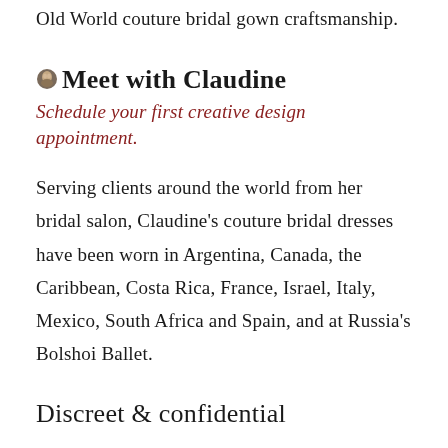Old World couture bridal gown craftsmanship.
Meet with Claudine
Schedule your first creative design appointment.
Serving clients around the world from her bridal salon, Claudine's couture bridal dresses have been worn in Argentina, Canada, the Caribbean, Costa Rica, France, Israel, Italy, Mexico, South Africa and Spain, and at Russia's Bolshoi Ballet.
Discreet & confidential